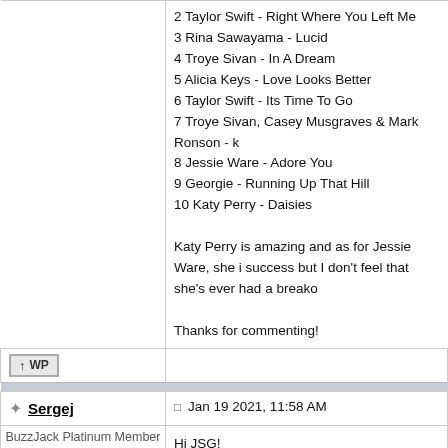2 Taylor Swift - Right Where You Left Me
3 Rina Sawayama - Lucid
4 Troye Sivan - In A Dream
5 Alicia Keys - Love Looks Better
6 Taylor Swift - Its Time To Go
7 Troye Sivan, Casey Musgraves & Mark Ronson - [truncated]
8 Jessie Ware - Adore You
9 Georgie - Running Up That Hill
10 Katy Perry - Daisies
Katy Perry is amazing and as for Jessie Ware, she i... success but I don't feel that she's ever had a breako...
Thanks for commenting!
Sergej
Jan 19 2021, 11:58 AM
BuzzJack Platinum Member
Group: Moderator
Posts: 7,782
Member No.: 39,723
Hi JSG!
Nice to see "Daisies" in the top 10 and the big gains...
Great chart!